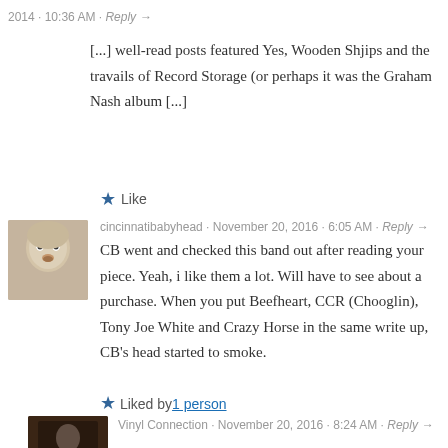2014 - 10:36 AM · Reply →
[...] well-read posts featured Yes, Wooden Shjips and the travails of Record Storage (or perhaps it was the Graham Nash album [...]
★ Like
cincinnatibabyhead · November 20, 2016 - 6:05 AM · Reply →
CB went and checked this band out after reading your piece. Yeah, i like them a lot. Will have to see about a purchase. When you put Beefheart, CCR (Chooglin), Tony Joe White and Crazy Horse in the same write up, CB's head started to smoke.
★ Liked by 1person
Vinyl Connection · November 20, 2016 - 8:24 AM · Reply →
Just one piece of advice: Don't smoke inn bed.